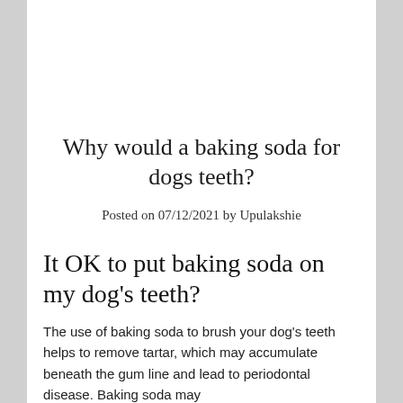Why would a baking soda for dogs teeth?
Posted on 07/12/2021 by Upulakshie
It OK to put baking soda on my dog's teeth?
The use of baking soda to brush your dog's teeth helps to remove tartar, which may accumulate beneath the gum line and lead to periodontal disease. Baking soda may